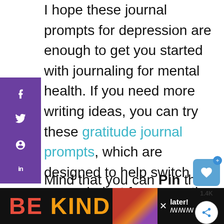I hope these journal prompts for depression are enough to get you started with journaling for mental health. If you need more writing ideas, you can try these gratitude journal prompts, which are designed to help switch your mindset from negative to positive!
[Figure (screenshot): Social media share sidebar with Facebook, Twitter, Pinterest, and LinkedIn icons on a purple background]
[Figure (other): Save/heart button showing 1.4K saves, and a share icon button below it]
[Figure (other): Advertisement banner at the bottom: 'BE KIND' text on black background with decorative image, close button, and 'later!' text]